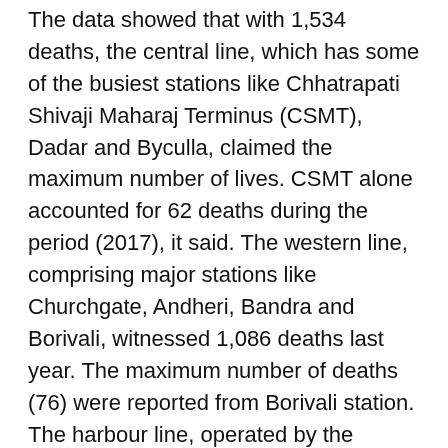The data showed that with 1,534 deaths, the central line, which has some of the busiest stations like Chhatrapati Shivaji Maharaj Terminus (CSMT), Dadar and Byculla, claimed the maximum number of lives. CSMT alone accounted for 62 deaths during the period (2017), it said. The western line, comprising major stations like Churchgate, Andheri, Bandra and Borivali, witnessed 1,086 deaths last year. The maximum number of deaths (76) were reported from Borivali station. The harbour line, operated by the Central Railway, witnessed as many as 394 deaths last year, the RTI reply revealed. While 36 people, including six women, allegedly committed suicide, 556 commuters (481 males and 75 females) died a natural death while travelling, it said.